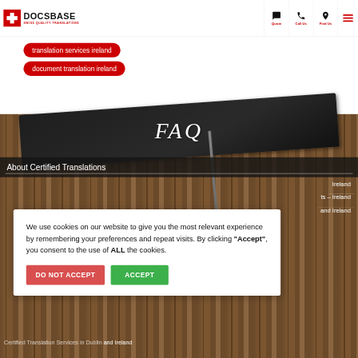DOCSBASE - SWISS QUALITY TRANSLATIONS | Quote | Call Us | Find Us
translation services ireland
document translation ireland
[Figure (photo): FAQ heading on dark notebook placed on wooden table background]
About Certified Translations
Ireland
ts – Ireland
and Ireland
We use cookies on our website to give you the most relevant experience by remembering your preferences and repeat visits. By clicking “Accept”, you consent to the use of ALL the cookies.
DO NOT ACCEPT | ACCEPT